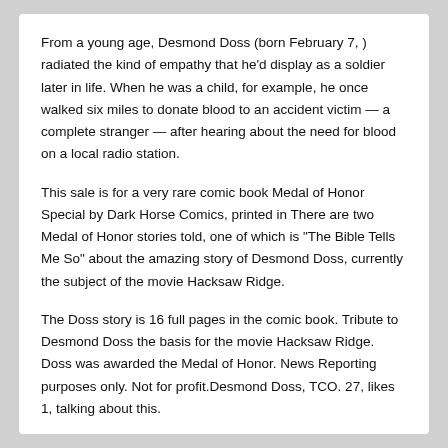From a young age, Desmond Doss (born February 7, ) radiated the kind of empathy that he'd display as a soldier later in life. When he was a child, for example, he once walked six miles to donate blood to an accident victim — a complete stranger — after hearing about the need for blood on a local radio station.
This sale is for a very rare comic book Medal of Honor Special by Dark Horse Comics, printed in There are two Medal of Honor stories told, one of which is "The Bible Tells Me So" about the amazing story of Desmond Doss, currently the subject of the movie Hacksaw Ridge.
The Doss story is 16 full pages in the comic book. Tribute to Desmond Doss the basis for the movie Hacksaw Ridge. Doss was awarded the Medal of Honor. News Reporting purposes only. Not for profit.Desmond Doss, TCO. 27, likes 1, talking about this.
US Army medic Desmond T. Doss was the first conscientious objector awarded the Medal Followers: 28K.